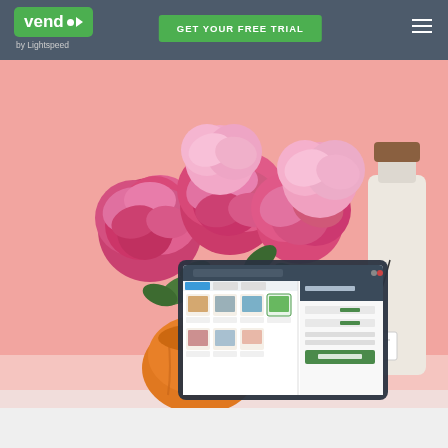[Figure (screenshot): Vend by Lightspeed website header with green logo, GET YOUR FREE TRIAL button, and hamburger menu on dark gray navigation bar. Below is a hero image showing pink peonies in an orange pumpkin vase against a pink background, with a Vend POS software screenshot on a tablet overlaid in the lower center, and a white ceramic bottle with a tag on the right side. A light gray strip appears at the very bottom.]